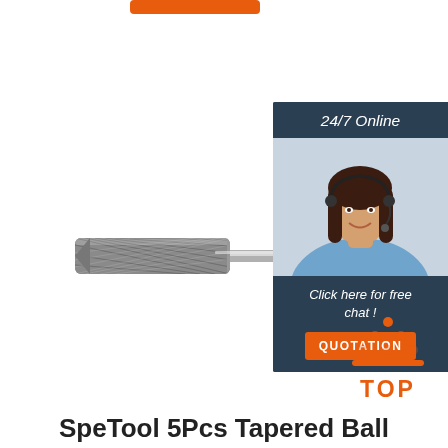[Figure (other): Orange button / UI element partially visible at top of page]
[Figure (photo): Photograph of a cylindrical carbide burr / rotary cutting tool with long shank on white background]
[Figure (infographic): 24/7 Online chat widget with dark blue background, photo of female customer service operator wearing headset, text 'Click here for free chat!', and orange QUOTATION button]
[Figure (other): Orange dotted triangle TOP icon with orange text 'TOP' below it]
SpeTool 5Pcs Tapered Ball